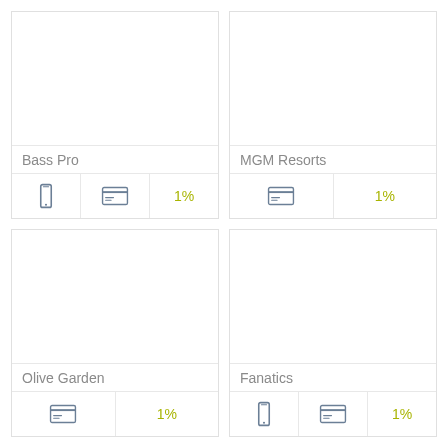[Figure (infographic): Bass Pro merchant card with phone and credit card icons showing 1% reward]
[Figure (infographic): MGM Resorts merchant card with credit card icon showing 1% reward]
[Figure (infographic): Olive Garden merchant card with credit card icon showing 1% reward]
[Figure (infographic): Fanatics merchant card with phone and credit card icons showing 1% reward]